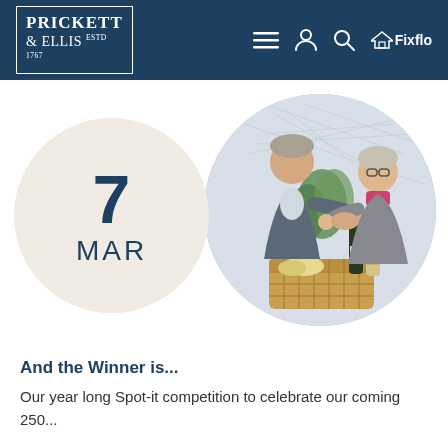Prickett & Ellis ESTD 1767 — navigation header with Fixflo logo
[Figure (photo): Circular date badge showing '7 MAR' in dark blue on beige background, overlapping with circular photo of two people shaking hands over a wicker hamper basket with bottles and food, with a map on the wall behind them, in an estate agency office setting]
And the Winner is...
Our year long Spot-it competition to celebrate our coming 250...